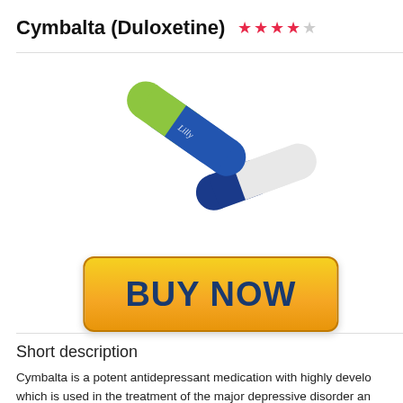Cymbalta (Duloxetine) ★★★★☆
[Figure (photo): Two pharmaceutical capsules — one blue and green capsule with 'Lilly' inscription, one blue and white capsule, arranged on a white background.]
[Figure (other): Yellow 'BUY NOW' button with dark blue bold text and rounded corners.]
Short description
Cymbalta is a potent antidepressant medication with highly develo which is used in the treatment of the major depressive disorder an